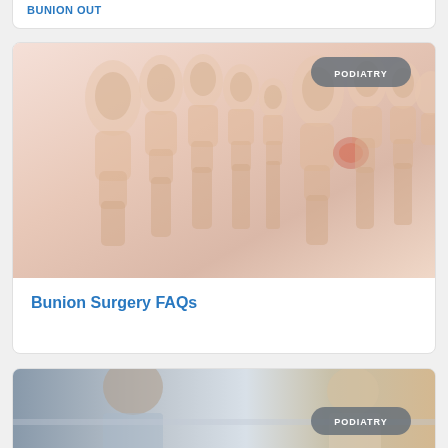BUNION OUT
[Figure (illustration): Medical illustration of toes showing bunion condition - x-ray style view of foot bones with one toe showing red/inflamed joint, with PODIATRY badge overlay]
Bunion Surgery FAQs
[Figure (photo): Photo of doctor consulting with patient, with PODIATRY badge overlay - partial view at bottom of page]